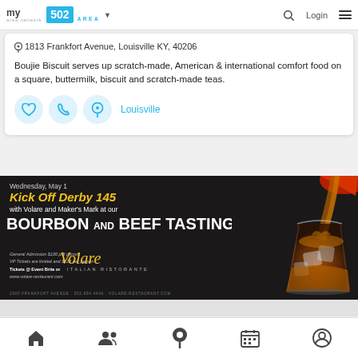my area network | 502 AREA
1813 Frankfort Avenue, Louisville KY, 40206
Boujie Biscuit serves up scratch-made, American & international comfort food on a square, buttermilk, biscuit and scratch-made teas.
Louisville
[Figure (screenshot): Advertisement for Volare Italian Ristorante: Wednesday, May 1 - Kick Off Derby 145 with Volare and Maker's Mark at our Bourbon and Beef Tasting. General Admission $100 per person. VIP Tickets are limited and $125 per person. Tickets @ Event Brite or www.volare-restaurant.com. 2300 Frankfort Avenue - 502.894.4446 - VOLARE-RESTAURANT.COM. Features image of whiskey being poured into a glass.]
Home | People | Location | Calendar | Profile